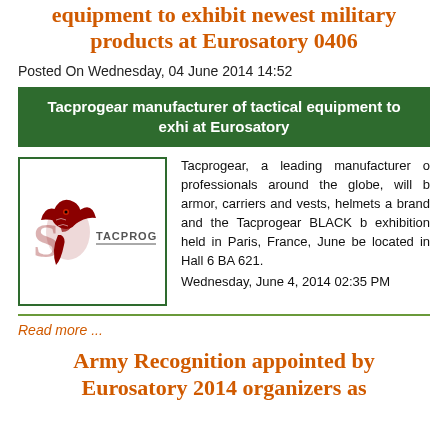equipment to exhibit newest military products at Eurosatory 0406
Posted On Wednesday, 04 June 2014 14:52
Tacprogear manufacturer of tactical equipment to exhi... at Eurosatory
[Figure (logo): Tacprogear logo with red dragon and text TACPROGEAR]
Tacprogear, a leading manufacturer of professionals around the globe, will b armor, carriers and vests, helmets a brand and the Tacprogear BLACK b exhibition held in Paris, France, June be located in Hall 6 BA 621.
Wednesday, June 4, 2014 02:35 PM
Read more ...
Army Recognition appointed by Eurosatory 2014 organizers as